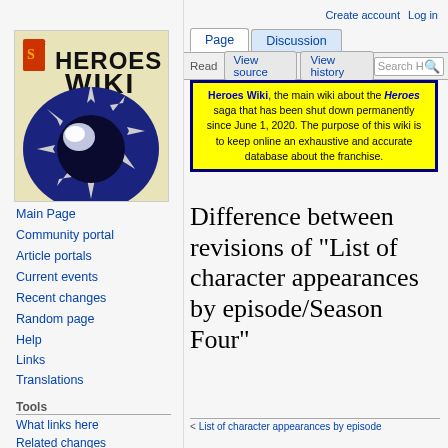Create account  Log in
[Figure (logo): Heroes Wiki logo with dark blue starburst design on cream background]
Main Page
Community portal
Article portals
Current events
Recent changes
Random page
Help
Links
Translations
Tools
What links here
Related changes
Special pages
Heroes Wiki, the main wiki about the Heroes saga that has been shut down permanently since June 1, 2020. The purpose of this wiki is to keep online an exhaustive and accurate database about the franchise.
Difference between revisions of "List of character appearances by episode/Season Four"
< List of character appearances by episode